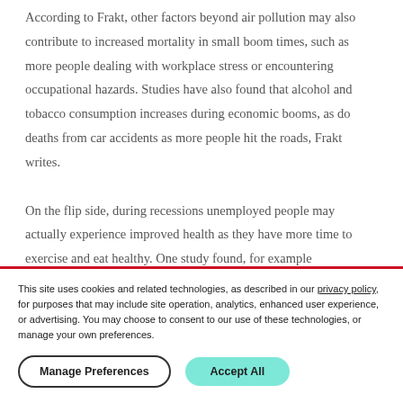According to Frakt, other factors beyond air pollution may also contribute to increased mortality in small boom times, such as more people dealing with workplace stress or encountering occupational hazards. Studies have also found that alcohol and tobacco consumption increases during economic booms, as do deaths from car accidents as more people hit the roads, Frakt writes.
On the flip side, during recessions unemployed people may actually experience improved health as they have more time to exercise and eat healthy. One study found, for example
This site uses cookies and related technologies, as described in our privacy policy, for purposes that may include site operation, analytics, enhanced user experience, or advertising. You may choose to consent to our use of these technologies, or manage your own preferences.